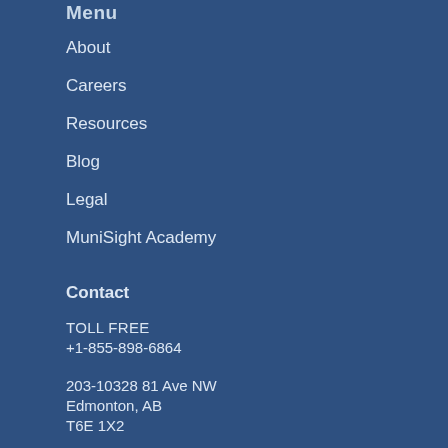Menu
About
Careers
Resources
Blog
Legal
MuniSight Academy
Contact
TOLL FREE
+1-855-898-6864
203-10328 81 Ave NW
Edmonton, AB
T6E 1X2